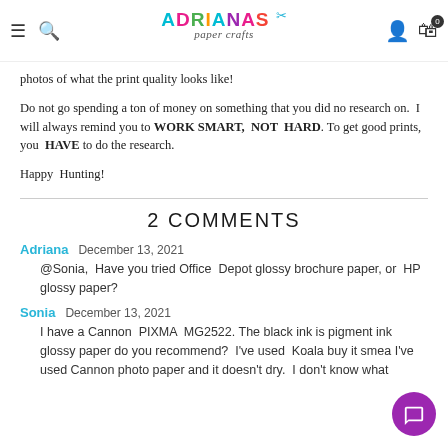Adriana's Paper Crafts — navigation header with hamburger, search, logo, user icon, cart (0)
photos of what the print quality looks like!
Do not go spending a ton of money on something that you did no research on. I will always remind you to WORK SMART, NOT HARD. To get good prints, you HAVE to do the research.
Happy Hunting!
2 COMMENTS
Adriana  December 13, 2021
@Sonia, Have you tried Office Depot glossy brochure paper, or HP glossy paper?
Sonia  December 13, 2021
I have a Cannon PIXMA MG2522. The black ink is pigment ink glossy paper do you recommend? I've used Koala buy it smea... I've used Cannon photo paper and it doesn't dry. I don't know what